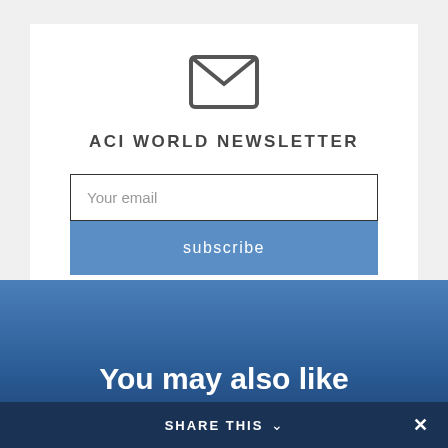[Figure (illustration): Envelope icon (mail symbol) in grey outline style]
ACI WORLD NEWSLETTER
Your email
subscribe
You may also like
SHARE THIS